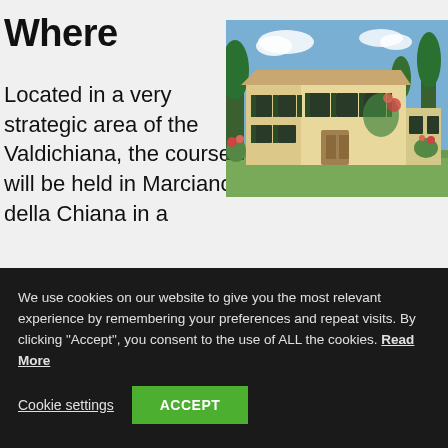Where
Located in a very strategic area of the Valdichiana, the course will be held in Marciano della Chiana in a
[Figure (photo): Photo of a traditional Italian villa with yellow-beige walls, green shutters, climbing roses and plants in front, set in Tuscany]
We use cookies on our website to give you the most relevant experience by remembering your preferences and repeat visits. By clicking "Accept", you consent to the use of ALL the cookies. Read More
Cookie settings    ACCEPT